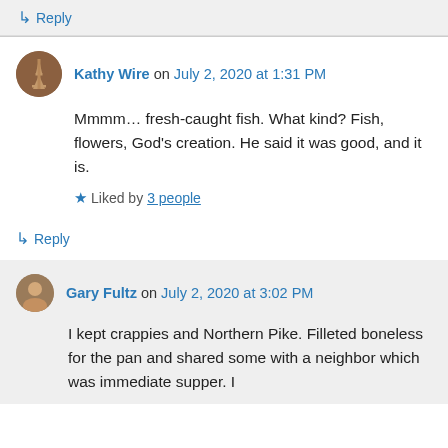↳ Reply
Kathy Wire on July 2, 2020 at 1:31 PM
Mmmm… fresh-caught fish. What kind? Fish, flowers, God's creation. He said it was good, and it is.
★ Liked by 3 people
↳ Reply
Gary Fultz on July 2, 2020 at 3:02 PM
I kept crappies and Northern Pike. Filleted boneless for the pan and shared some with a neighbor which was immediate supper. I